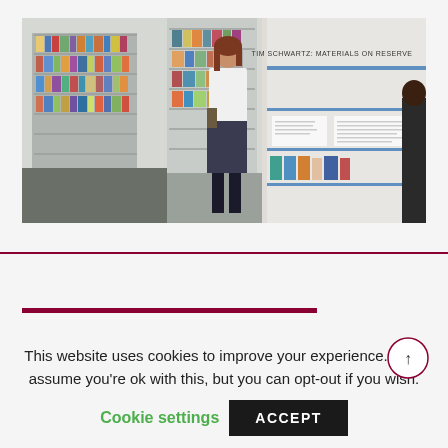[Figure (photo): Interior of a library or gallery exhibition with books displayed on white shelves along walls. A woman in a white top and dark skirt stands browsing. Right side shows a section labeled 'TIM SCHWARTZ: MATERIALS ON RESERVE'.]
This website uses cookies to improve your experience. We'll assume you're ok with this, but you can opt-out if you wish.
Cookie settings
ACCEPT